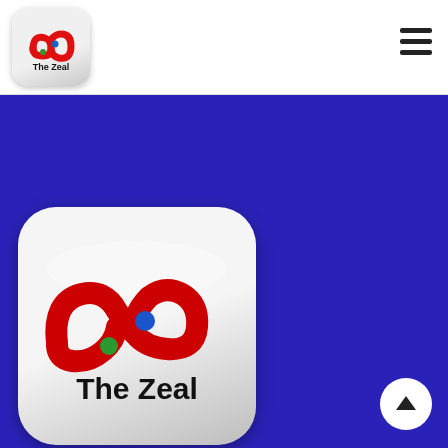[Figure (logo): The Zeal logo in small rounded square, shown in nav bar]
[Figure (logo): Hamburger menu icon (three horizontal lines) top right]
[Figure (logo): Large The Zeal logo on blue background - rounded square with red infinity-like symbol, blue dot, green dot, and text 'The Zeal']
Important Links
Products